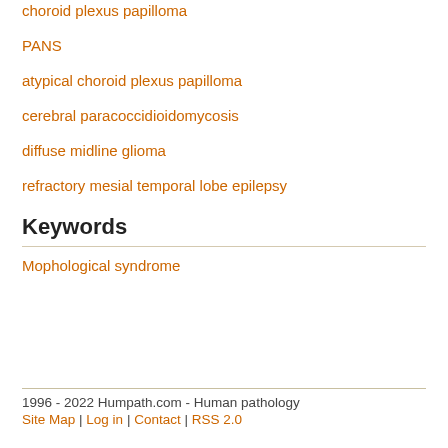choroid plexus papilloma
PANS
atypical choroid plexus papilloma
cerebral paracoccidioidomycosis
diffuse midline glioma
refractory mesial temporal lobe epilepsy
Keywords
Mophological syndrome
1996 - 2022 Humpath.com - Human pathology
Site Map | Log in | Contact | RSS 2.0